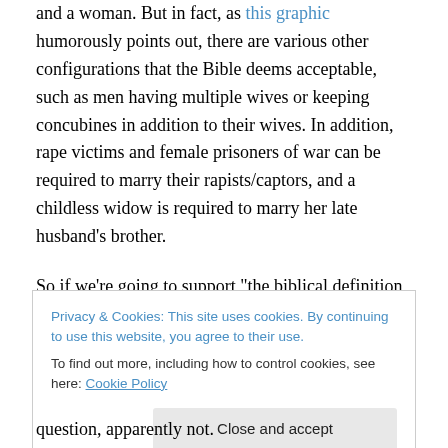and a woman. But in fact, as this graphic humorously points out, there are various other configurations that the Bible deems acceptable, such as men having multiple wives or keeping concubines in addition to their wives. In addition, rape victims and female prisoners of war can be required to marry their rapists/captors, and a childless widow is required to marry her late husband's brother.
So if we're going to support “the biblical definition of the family unit” in this country, why aren’t we going all-out?
Privacy & Cookies: This site uses cookies. By continuing to use this website, you agree to their use. To find out more, including how to control cookies, see here: Cookie Policy
question, apparently not.